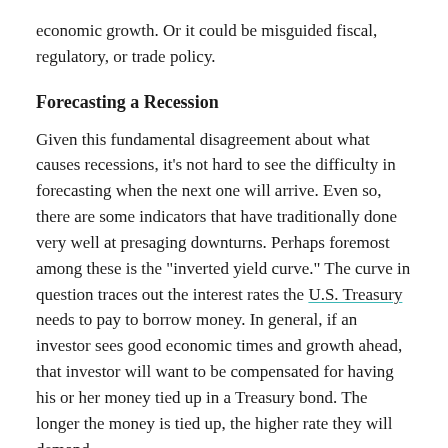economic growth. Or it could be misguided fiscal, regulatory, or trade policy.
Forecasting a Recession
Given this fundamental disagreement about what causes recessions, it’s not hard to see the difficulty in forecasting when the next one will arrive. Even so, there are some indicators that have traditionally done very well at presaging downturns. Perhaps foremost among these is the “inverted yield curve.” The curve in question traces out the interest rates the U.S. Treasury needs to pay to borrow money. In general, if an investor sees good economic times and growth ahead, that investor will want to be compensated for having his or her money tied up in a Treasury bond. The longer the money is tied up, the higher rate they will demand.
Thus, one expects that a 10-year bond will have a higher interest rate than a 2-year bond. And that’s true most of